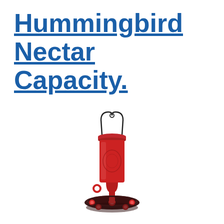Hummingbird Nectar Capacity.
[Figure (photo): A red glass hummingbird feeder with a dark metal hanging wire handle, a red glass bottle-shaped reservoir with embossed decorations, a narrow stem, and a dark circular base with five red flower-shaped feeding ports.]